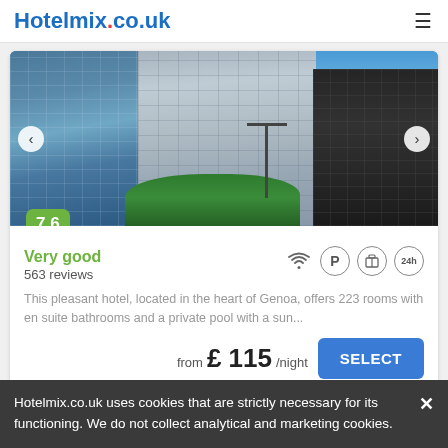Hotelmix.co.uk
[Figure (photo): Hotel building exterior photo showing modern glass tower with grid-pattern facade, street lamp, trees, and black building on right side against blue sky]
Very good
563 reviews
This pleasant hotel, located in the heart of Genoa, offers 223 rooms with en suite bathrooms and a private pool with a sun...
from £ 115/night
SELECT
Hotelmix.co.uk uses cookies that are strictly necessary for its functioning. We do not collect analytical and marketing cookies.